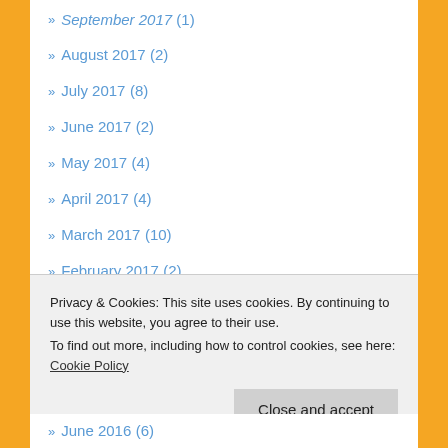September 2017 (1)
August 2017 (2)
July 2017 (8)
June 2017 (2)
May 2017 (4)
April 2017 (4)
March 2017 (10)
February 2017 (2)
January 2017 (5)
December 2016 (5)
November 2016 (2)
Privacy & Cookies: This site uses cookies. By continuing to use this website, you agree to their use. To find out more, including how to control cookies, see here: Cookie Policy
June 2016 (6)